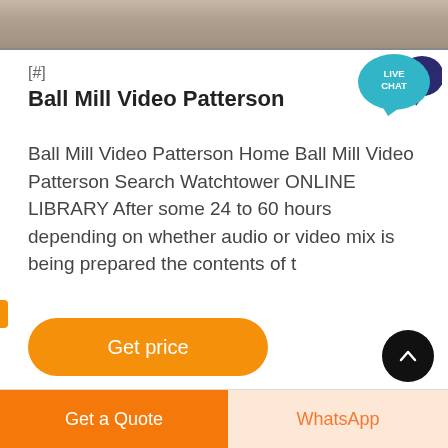[Figure (photo): Top banner image showing a textured stone or rock surface in grey/brown tones]
[Figure (illustration): Live Chat widget: teal speech bubble with 'LIVE CHAT' text and dark blue chat icon in top right corner]
[#]
Ball Mill Video Patterson
Ball Mill Video Patterson Home Ball Mill Video Patterson Search Watchtower ONLINE LIBRARY After some 24 to 60 hours depending on whether audio or video mix is being prepared the contents of t
[Figure (other): Orange rounded button labeled 'Get price']
[Figure (other): Black circular scroll-to-top button with upward chevron arrow]
Get a Quote    WhatsApp